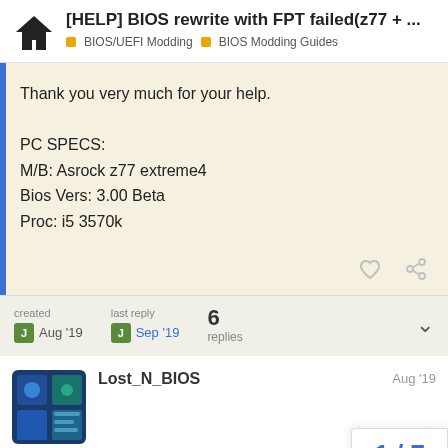[HELP] BIOS rewrite with FPT failed(z77 + ... | BIOS/UEFI Modding | BIOS Modding Guides
Thank you very much for your help.

PC SPECS:
M/B: Asrock z77 extreme4
Bios Vers: 3.00 Beta
Proc: i5 3570k
created Aug '19 | last reply Sep '19 | 6 replies
Lost_N_BIOS Aug '19
@Jotas - Yes, BIOS would be co...
1 / 7